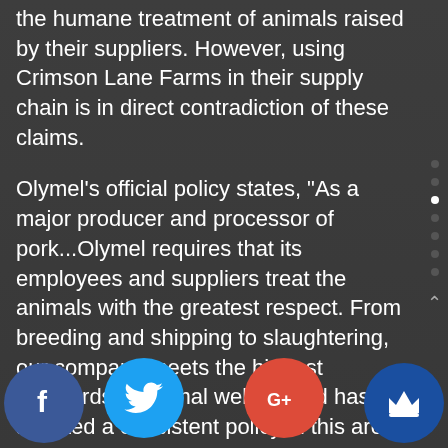the humane treatment of animals raised by their suppliers. However, using Crimson Lane Farms in their supply chain is in direct contradiction of these claims.
Olymel's official policy states, "As a major producer and processor of pork...Olymel requires that its employees and suppliers treat the animals with the greatest respect. From breeding and shipping to slaughtering, our company meets the highest standards of animal welfare and has adopted a consistent policy in this area."
The RCC alleges to believe that, "...sows should be housed in an environment where their pregnancy, health and wellbeing are taken [at the] highest